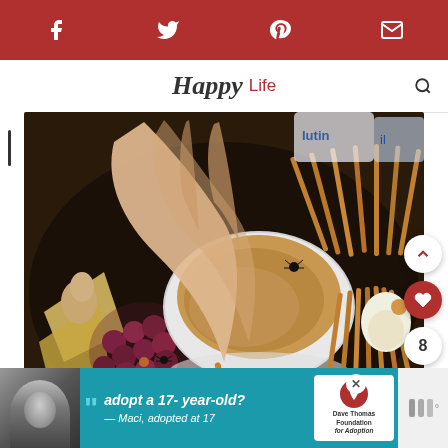Social share bar: Facebook, Twitter, Pinterest, Email
Life
[Figure (photo): A hand reaching into a white oval bowl filled with a tan/brown dip, surrounded by grapes, pretzel sticks, cheese, and other charcuterie items on a dark tray. A small plastic spider decoration sits on the dip near the pretzel sticks.]
adopt a 17-year-old? — Maci, adopted at 17
[Figure (logo): Dave Thomas Foundation for Adoption logo — red heart with person symbol on white background, with text 'Dave Thomas Foundation for Adoption']